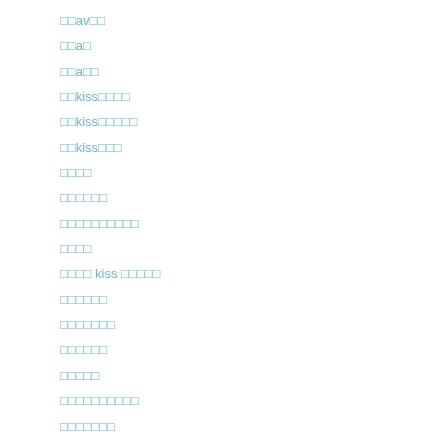□□av□□
□□a□
□□a□□
□□kiss□□□□
□□kiss□□□□□
□□kiss□□□
□□□□
□□□□□□
□□□□□□□□□□
□□□□
□□□□ kiss □□□□□
□□□□□□
□□□□□□□
□□□□□□
□□□□□
□□□□□□□□□□
□□□□□□□
□□□□
□□□□
□□□□□□
□□□□□
□□□□□□□□□□
□□□□□□